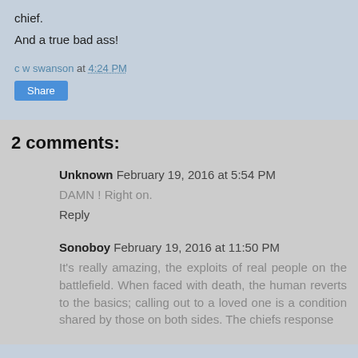chief.
And a true bad ass!
c w swanson at 4:24 PM
Share
2 comments:
Unknown  February 19, 2016 at 5:54 PM
DAMN ! Right on.
Reply
Sonoboy  February 19, 2016 at 11:50 PM
It's really amazing, the exploits of real people on the battlefield. When faced with death, the human reverts to the basics; calling out to a loved one is a condition shared by those on both sides. The chiefs response